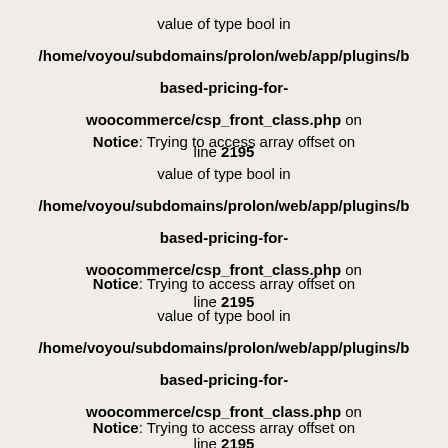value of type bool in /home/voyou/subdomains/prolon/web/app/plugins/based-pricing-for-woocommerce/csp_front_class.php on line 2195
Notice: Trying to access array offset on value of type bool in /home/voyou/subdomains/prolon/web/app/plugins/based-pricing-for-woocommerce/csp_front_class.php on line 2195
Notice: Trying to access array offset on value of type bool in /home/voyou/subdomains/prolon/web/app/plugins/based-pricing-for-woocommerce/csp_front_class.php on line 2195
Notice: Trying to access array offset on